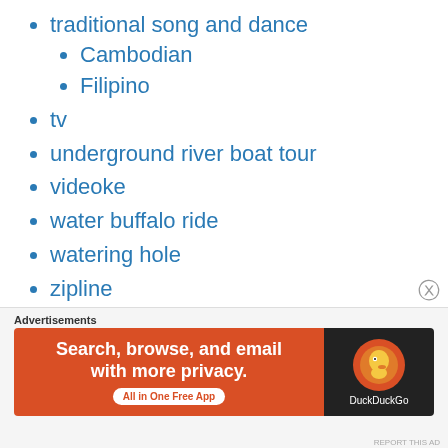traditional song and dance
Cambodian
Filipino
tv
underground river boat tour
videoke
water buffalo ride
watering hole
zipline
event/activity
acrobat show
art fair
boodle fight
Advertisements
[Figure (screenshot): DuckDuckGo advertisement banner: Search, browse, and email with more privacy. All in One Free App]